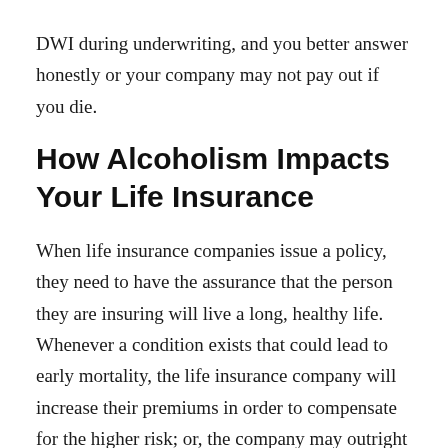DWI during underwriting, and you better answer honestly or your company may not pay out if you die.
How Alcoholism Impacts Your Life Insurance
When life insurance companies issue a policy, they need to have the assurance that the person they are insuring will live a long, healthy life. Whenever a condition exists that could lead to early mortality, the life insurance company will increase their premiums in order to compensate for the higher risk; or, the company may outright decline